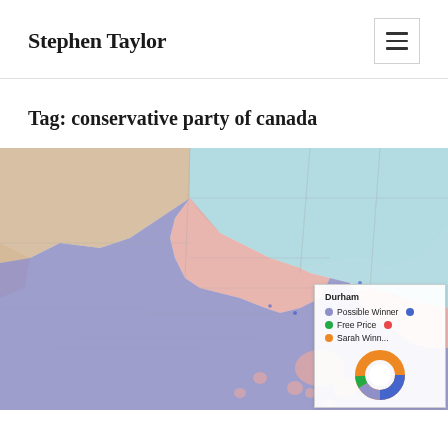Stephen Taylor
Tag: conservative party of canada
[Figure (map): Electoral map of Ontario Canada showing riding results by party, with regions coloured in blue (NDP/Bloc), light red/pink (Liberal/Conservative), cyan/light blue (Conservative), and tan/beige (other). A tooltip overlay in the bottom right shows a legend and donut chart for Durham region with party colour indicators for Possible Winner, Free Price, Sean Winner.]